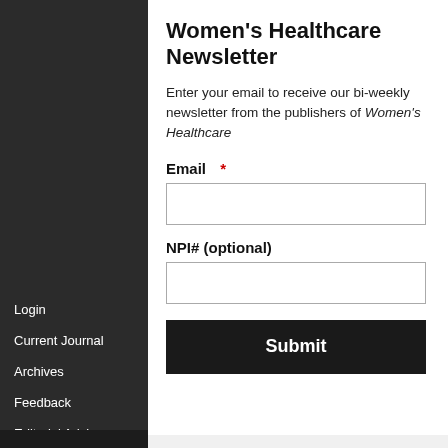Women's Healthcare Newsletter
Enter your email to receive our bi-weekly newsletter from the publishers of Women's Healthcare
Email *
NPI# (optional)
Submit
Login
Current Journal
Archives
Feedback
Editorial Adviroy
Subscribe
Author Guidelines
Peer Review Form
Submit a Manuscript